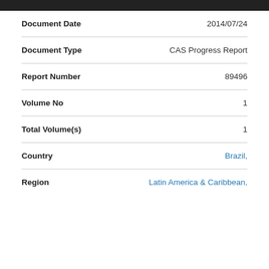| Field | Value |
| --- | --- |
| Document Date | 2014/07/24 |
| Document Type | CAS Progress Report |
| Report Number | 89496 |
| Volume No | 1 |
| Total Volume(s) | 1 |
| Country | Brazil, |
| Region | Latin America & Caribbean, |